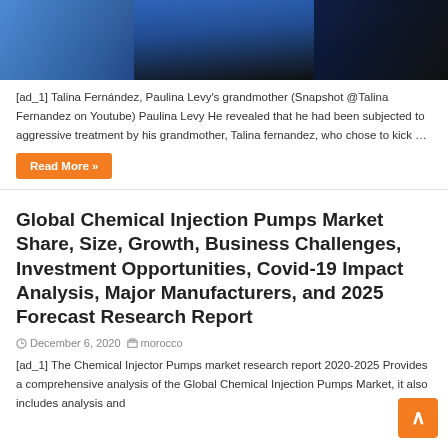[Figure (photo): Photo of a person in a dark blue outfit against a decorative background]
[ad_1] Talina Fernández, Paulina Levy's grandmother (Snapshot @Talina Fernandez on Youtube) Paulina Levy He revealed that he had been subjected to aggressive treatment by his grandmother, Talina fernandez, who chose to kick …
Read More »
Global Chemical Injection Pumps Market Share, Size, Growth, Business Challenges, Investment Opportunities, Covid-19 Impact Analysis, Major Manufacturers, and 2025 Forecast Research Report
December 6, 2020   morocco
[ad_1] The Chemical Injector Pumps market research report 2020-2025 Provides a comprehensive analysis of the Global Chemical Injection Pumps Market, it also includes analysis and